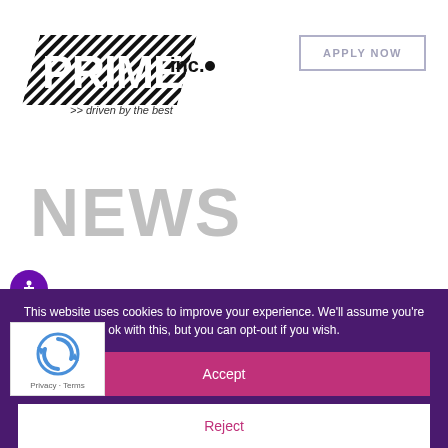[Figure (logo): Prime Inc. logo with diagonal stripe pattern and tagline '>> driven by the best']
APPLY NOW
NEWS
[Figure (illustration): Accessibility icon - person figure in circle on purple background]
This website uses cookies to improve your experience. We'll assume you're ok with this, but you can opt-out if you wish.
Accept
Reject
[Figure (logo): Google reCAPTCHA widget with blue circular arrows logo and 'Privacy - Terms' text]